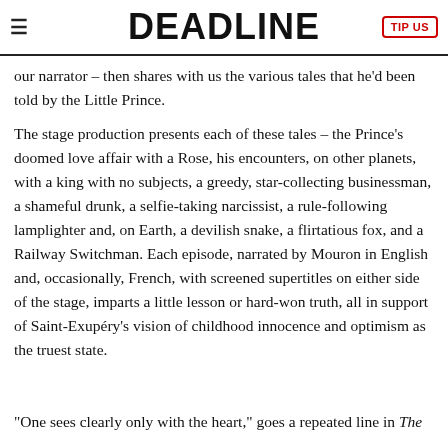DEADLINE
our narrator – then shares with us the various tales that he'd been told by the Little Prince.
The stage production presents each of these tales – the Prince's doomed love affair with a Rose, his encounters, on other planets, with a king with no subjects, a greedy, star-collecting businessman, a shameful drunk, a selfie-taking narcissist, a rule-following lamplighter and, on Earth, a devilish snake, a flirtatious fox, and a Railway Switchman. Each episode, narrated by Mouron in English and, occasionally, French, with screened supertitles on either side of the stage, imparts a little lesson or hard-won truth, all in support of Saint-Exupéry's vision of childhood innocence and optimism as the truest state.
“One sees clearly only with the heart,” goes a repeated line in The